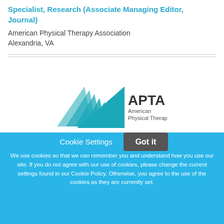Specialist, Research (Associate Managing Editor, Journal)
American Physical Therapy Association
Alexandria, VA
[Figure (logo): APTA American Physical Therapy logo with teal triangular arrow graphic]
Cookie Settings
Got it
We use cookies so that we can remember you and understand how you use our site. If you do not agree with our use of cookies, please change the current settings found in our Cookie Policy. Otherwise, you agree to the use of the cookies as they are currently set.